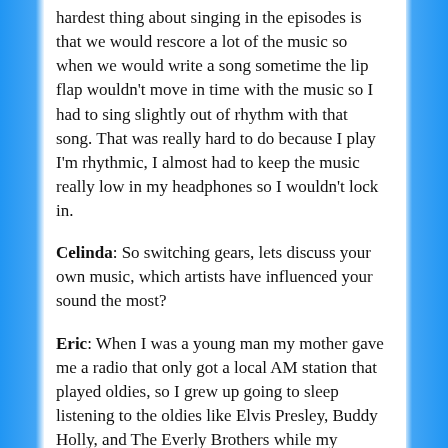hardest thing about singing in the episodes is that we would rescore a lot of the music so when we would write a song sometime the lip flap wouldn't move in time with the music so I had to sing slightly out of rhythm with that song. That was really hard to do because I play I'm rhythmic, I almost had to keep the music really low in my headphones so I wouldn't lock in.
Celinda: So switching gears, lets discuss your own music, which artists have influenced your sound the most?
Eric: When I was a young man my mother gave me a radio that only got a local AM station that played oldies, so I grew up going to sleep listening to the oldies like Elvis Presley, Buddy Holly, and The Everly Brothers while my friends were listening to more mainstream Rock n' Roll. So when I started to sing, I could sing like Buddy Holly so he was a huge